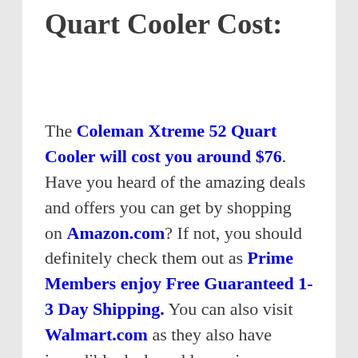Quart Cooler Cost:
The Coleman Xtreme 52 Quart Cooler will cost you around $76. Have you heard of the amazing deals and offers you can get by shopping on Amazon.com? If not, you should definitely check them out as Prime Members enjoy Free Guaranteed 1-3 Day Shipping. You can also visit Walmart.com as they also have incredible deals and low prices.